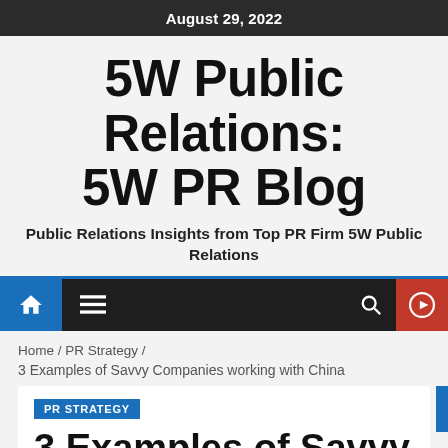August 29, 2022
5W Public Relations: 5W PR Blog
Public Relations Insights from Top PR Firm 5W Public Relations
[Figure (screenshot): Navigation bar with home icon (blue background), hamburger menu icon, search icon, and red play button icon on dark background]
Home / PR Strategy /
3 Examples of Savvy Companies working with China
PR STRATEGY
3 Examples of Savvy